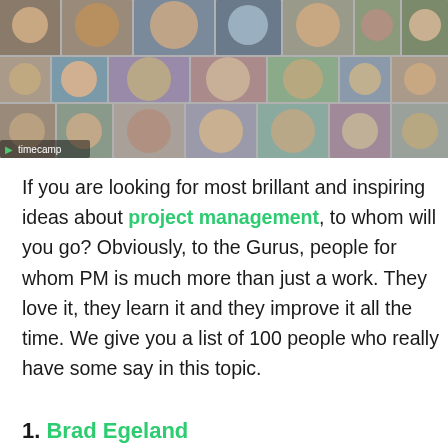[Figure (photo): A collage of headshot photos of many people, with a 'timecamp' logo visible in the lower left of the image.]
If you are looking for most brillant and inspiring ideas about project management, to whom will you go? Obviously, to the Gurus, people for whom PM is much more than just a work. They love it, they learn it and they improve it all the time. We give you a list of 100 people who really have some say in this topic.
1. Brad Egeland